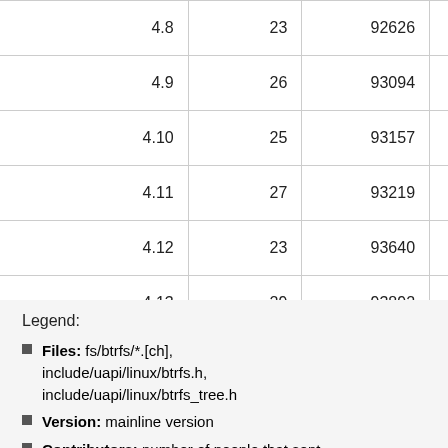| 4.8 | 23 | 92626 | 125912 | 113 |
| 4.9 | 26 | 93094 | 126560 | 64 |
| 4.10 | 25 | 93157 | 126669 | 103 |
| 4.11 | 27 | 93219 | 126853 | 210 |
| 4.12 | 23 | 93640 | 127560 | 85 |
| 4.13 | 29 | 93892 | 127970 | 135 |
| 4.14 | 28 | 94296 | 124346 | 132 |
Legend:
Files: fs/btrfs/*.[ch], include/uapi/linux/btrfs.h, include/uapi/linux/btrfs_tree.h
Version: mainline version
Contributors: number of people that sent patches that modified Files, direct btrfs